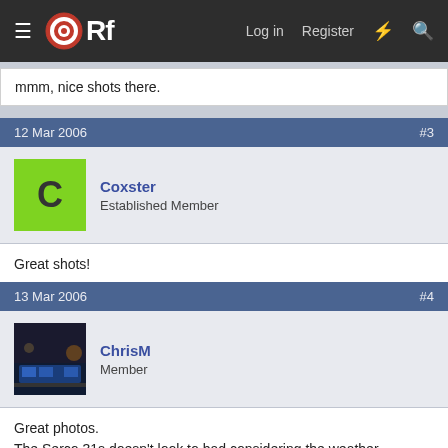ORf  Log in  Register
mmm, nice shots there.
12 Mar 2006  #3
Coxster
Established Member
Great shots!
13 Mar 2006  #4
ChrisM
Member
Great photos.
The Serco 31s doesn't look to bad considering the weather.